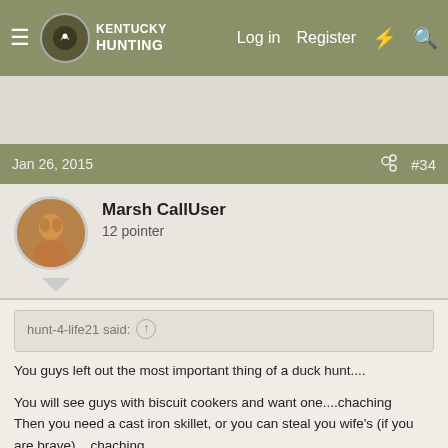Kentucky Hunting | Log in | Register
Jan 26, 2015  #34
Marsh CallUser
12 pointer
hunt-4-life21 said:
You guys left out the most important thing of a duck hunt....

You will see guys with biscuit cookers and want one....chaching
Then you need a cast iron skillet, or you can steal you wife's (if you are brave)....chaching
Pounds and pounds of bacon. Every. Single. Day.....chaching
Few pounds of sausage every day... chaching